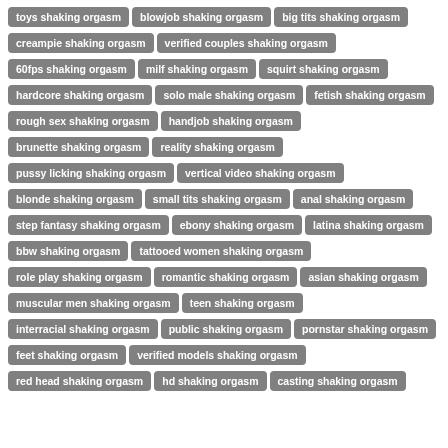toys shaking orgasm
blowjob shaking orgasm
big tits shaking orgasm
creampie shaking orgasm
verified couples shaking orgasm
60fps shaking orgasm
milf shaking orgasm
squirt shaking orgasm
hardcore shaking orgasm
solo male shaking orgasm
fetish shaking orgasm
rough sex shaking orgasm
handjob shaking orgasm
brunette shaking orgasm
reality shaking orgasm
pussy licking shaking orgasm
vertical video shaking orgasm
blonde shaking orgasm
small tits shaking orgasm
anal shaking orgasm
step fantasy shaking orgasm
ebony shaking orgasm
latina shaking orgasm
bbw shaking orgasm
tattooed women shaking orgasm
role play shaking orgasm
romantic shaking orgasm
asian shaking orgasm
muscular men shaking orgasm
teen shaking orgasm
interracial shaking orgasm
public shaking orgasm
pornstar shaking orgasm
feet shaking orgasm
verified models shaking orgasm
red head shaking orgasm
hd shaking orgasm
casting shaking orgasm